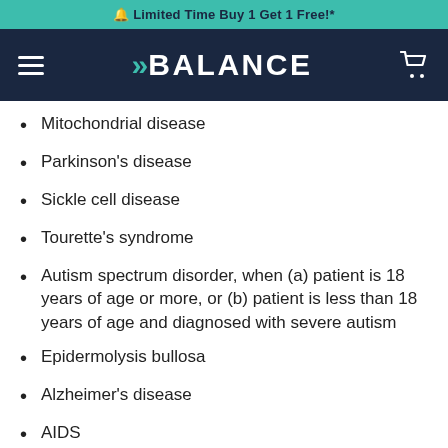🔔 Limited Time Buy 1 Get 1 Free!*
[Figure (logo): BALANCE brand logo with teal arrow chevron on dark navy navigation bar with hamburger menu and cart icon]
Mitochondrial disease
Parkinson's disease
Sickle cell disease
Tourette's syndrome
Autism spectrum disorder, when (a) patient is 18 years of age or more, or (b) patient is less than 18 years of age and diagnosed with severe autism
Epidermolysis bullosa
Alzheimer's disease
AIDS